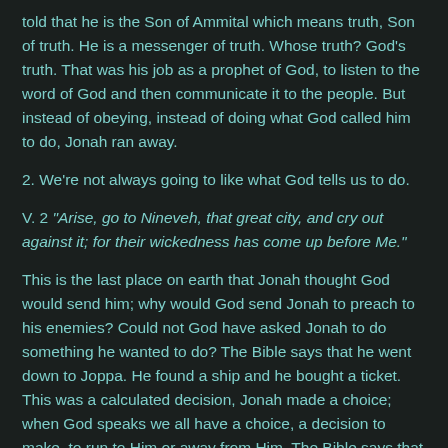told that he is the Son of Ammital which means truth, Son of truth. He is a messenger of truth. Whose truth? God's truth. That was his job as a prophet of God, to listen to the word of God and then communicate it to the people. But instead of obeying, instead of doing what God called him to do, Jonah ran away.
2. We're not always going to like what God tells us to do.
V. 2 "Arise, go to Nineveh, that great city, and cry out against it; for their wickedness has come up before Me."
This is the last place on earth that Jonah thought God would send him; why would God send Jonah to preach to his enemies? Could not God have asked Jonah to do something he wanted to do? The Bible says that he went down to Joppa. He found a ship and he bought a ticket. This was a calculated decision, Jonah made a choice; when God speaks we all have a choice, a decision to make, to run to Him or away from Him. The Bible says that when God...